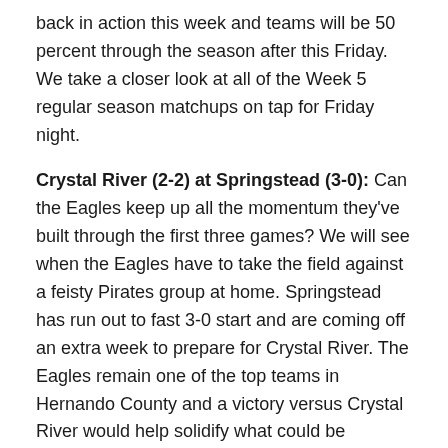back in action this week and teams will be 50 percent through the season after this Friday. We take a closer look at all of the Week 5 regular season matchups on tap for Friday night.
Crystal River (2-2) at Springstead (3-0): Can the Eagles keep up all the momentum they've built through the first three games? We will see when the Eagles have to take the field against a feisty Pirates group at home. Springstead has run out to fast 3-0 start and are coming off an extra week to prepare for Crystal River. The Eagles remain one of the top teams in Hernando County and a victory versus Crystal River would help solidify what could be potentially a playoff-type season for Springstead. Look for running back Anthony Alexis to have a big game against the Pirates' defense on Friday night.